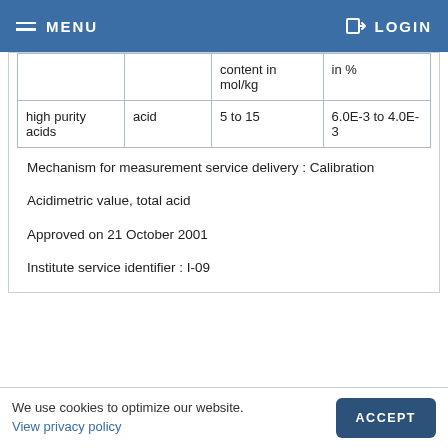MENU   LOGIN
|  |  | content in mol/kg | in % |
| --- | --- | --- | --- |
| high purity acids | acid | 5 to 15 | 6.0E-3 to 4.0E-3 |
Mechanism for measurement service delivery : Calibration
Acidimetric value, total acid
Approved on 21 October 2001
Institute service identifier : I-09
We use cookies to optimize our website. View privacy policy